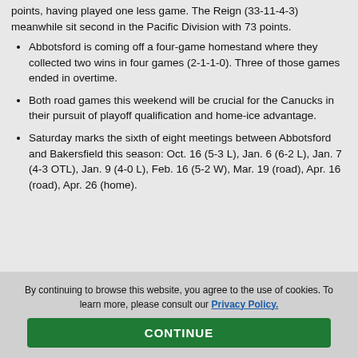points, having played one less game. The Reign (33-11-4-3) meanwhile sit second in the Pacific Division with 73 points.
Abbotsford is coming off a four-game homestand where they collected two wins in four games (2-1-1-0). Three of those games ended in overtime.
Both road games this weekend will be crucial for the Canucks in their pursuit of playoff qualification and home-ice advantage.
Saturday marks the sixth of eight meetings between Abbotsford and Bakersfield this season: Oct. 16 (5-3 L), Jan. 6 (6-2 L), Jan. 7 (4-3 OTL), Jan. 9 (4-0 L), Feb. 16 (5-2 W), Mar. 19 (road), Apr. 16 (road), Apr. 26 (home).
By continuing to browse this website, you agree to the use of cookies. To learn more, please consult our Privacy Policy.
CONTINUE